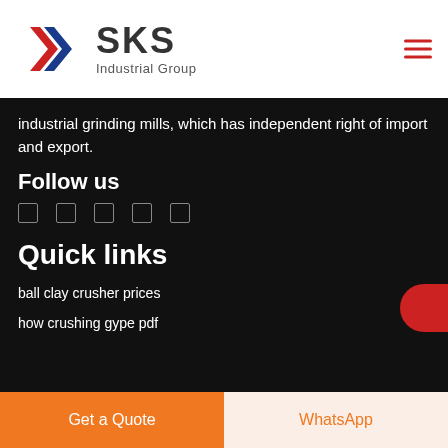[Figure (logo): SKS Industrial Group logo with red and blue K symbol and bold SKS text]
industrial grinding mills, which has independent right of import and export.
Follow us
[Figure (infographic): Five social media icon squares in a row]
Quick links
ball clay crusher prices
how crushing gype pdf